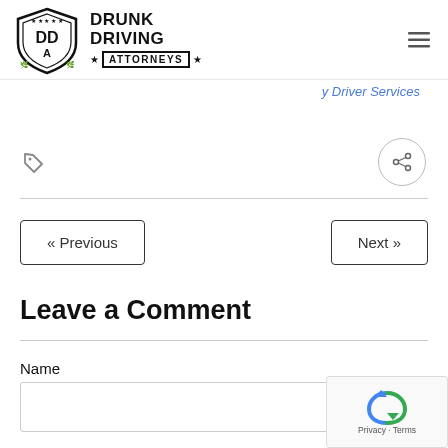Drunk Driving Attorneys
y Driver Services
[Figure (logo): Drunk Driving Attorneys shield logo with DDA initials and stars]
« Previous
Next »
Leave a Comment
Name